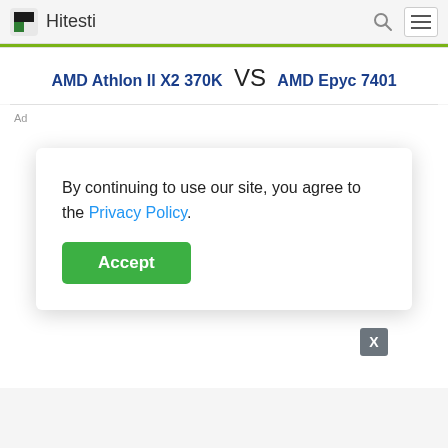Hitesti
AMD Athlon II X2 370K VS AMD Epyc 7401
Ad
By continuing to use our site, you agree to the Privacy Policy.
Accept